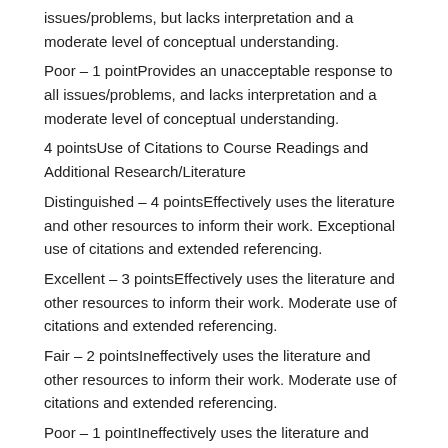issues/problems, but lacks interpretation and a moderate level of conceptual understanding.
Poor – 1 pointProvides an unacceptable response to all issues/problems, and lacks interpretation and a moderate level of conceptual understanding.
4 pointsUse of Citations to Course Readings and Additional Research/Literature
Distinguished – 4 pointsEffectively uses the literature and other resources to inform their work. Exceptional use of citations and extended referencing.
Excellent – 3 pointsEffectively uses the literature and other resources to inform their work. Moderate use of citations and extended referencing.
Fair – 2 pointsIneffectively uses the literature and other resources to inform their work. Moderate use of citations and extended referencing.
Poor – 1 pointIneffectively uses the literature and other resources to inform their work. Unacceptable use of citations and extended